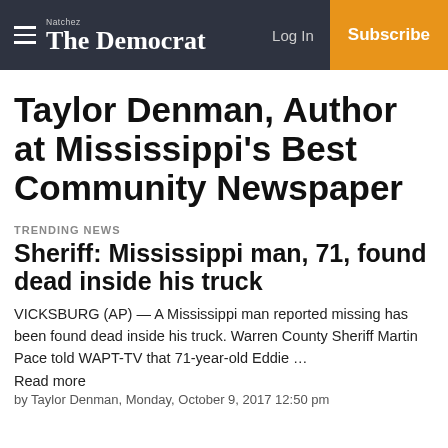The Democrat — Log In | Subscribe
Taylor Denman, Author at Mississippi's Best Community Newspaper
TRENDING NEWS
Sheriff: Mississippi man, 71, found dead inside his truck
VICKSBURG (AP) — A Mississippi man reported missing has been found dead inside his truck. Warren County Sheriff Martin Pace told WAPT-TV that 71-year-old Eddie …
Read more
by Taylor Denman, Monday, October 9, 2017 12:50 pm